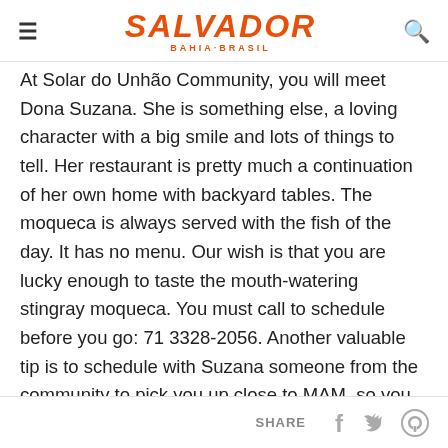SALVADOR BAHIA·BRASIL
At Solar do Unhão Community, you will meet Dona Suzana. She is something else, a loving character with a big smile and lots of things to tell. Her restaurant is pretty much a continuation of her own home with backyard tables. The moqueca is always served with the fish of the day. It has no menu. Our wish is that you are lucky enough to taste the mouth-watering stingray moqueca. You must call to schedule before you go: 71 3328-2056. Another valuable tip is to schedule with Suzana someone from the community to pick you up close to MAM, so you go together and you won't lose time looking for the restaurant.
SHARE